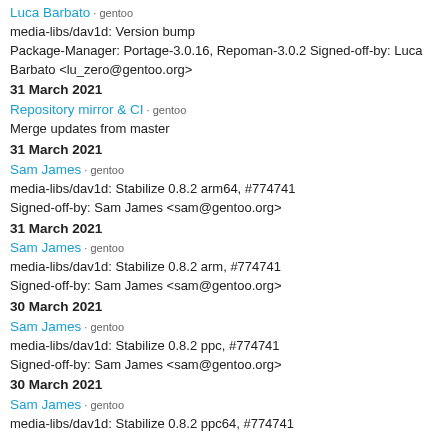Luca Barbato · gentoo
media-libs/dav1d: Version bump
Package-Manager: Portage-3.0.16, Repoman-3.0.2 Signed-off-by: Luca Barbato <lu_zero@gentoo.org>
31 March 2021
Repository mirror & CI · gentoo
Merge updates from master
31 March 2021
Sam James · gentoo
media-libs/dav1d: Stabilize 0.8.2 arm64, #774741
Signed-off-by: Sam James <sam@gentoo.org>
31 March 2021
Sam James · gentoo
media-libs/dav1d: Stabilize 0.8.2 arm, #774741
Signed-off-by: Sam James <sam@gentoo.org>
30 March 2021
Sam James · gentoo
media-libs/dav1d: Stabilize 0.8.2 ppc, #774741
Signed-off-by: Sam James <sam@gentoo.org>
30 March 2021
Sam James · gentoo
media-libs/dav1d: Stabilize 0.8.2 ppc64, #774741